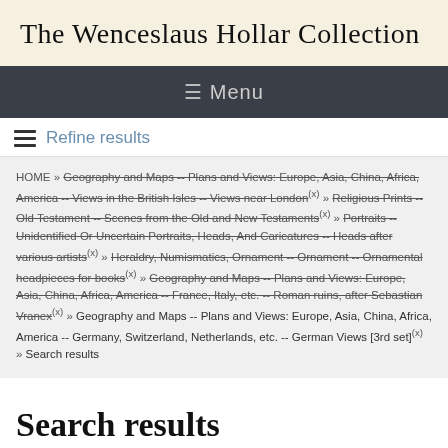The Wenceslaus Hollar Collection
≡ Menu
Refine results
HOME » Geography and Maps -- Plans and Views: Europe, Asia, China, Africa, America -- Views in the British Isles -- Views near London(x) » Religious Prints -- Old Testament -- Scenes from the Old and New Testaments(x) » Portraits -- Unidentified Or Uncertain Portraits, Heads, And Caricatures -- Heads after various artists(x) » Heraldry, Numismatics, Ornament -- Ornament -- Ornamental headpieces for books(x) » Geography and Maps -- Plans and Views: Europe, Asia, China, Africa, America -- France, Italy, etc. -- Roman ruins, after Sebastian Vranex(x) » Geography and Maps -- Plans and Views: Europe, Asia, China, Africa, America -- Germany, Switzerland, Netherlands, etc. -- German Views [3rd set](x) » Search results
Search results